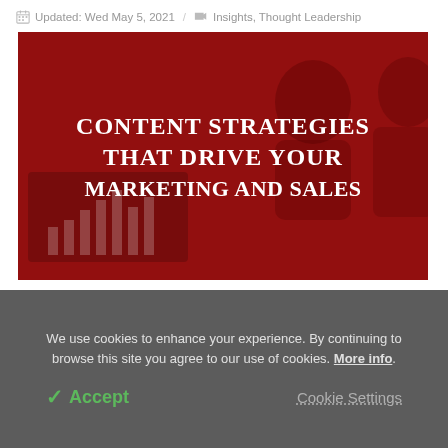Updated: Wed May 5, 2021 / Insights, Thought Leadership
[Figure (photo): Red-tinted hero image of two people working at a laptop with a bar chart visible, overlaid with bold white serif text: CONTENT STRATEGIES THAT DRIVE YOUR MARKETING AND SALES]
We use cookies to enhance your experience. By continuing to browse this site you agree to our use of cookies. More info.
✓ Accept   Cookie Settings